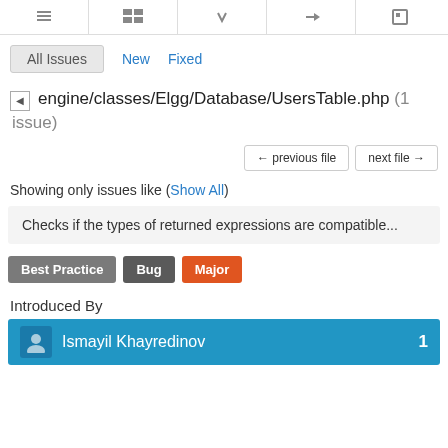toolbar icons row
All Issues
New
Fixed
engine/classes/Elgg/Database/UsersTable.php (1 issue)
← previous file    next file →
Showing only issues like (Show All)
Checks if the types of returned expressions are compatible...
Best Practice   Bug   Major
Introduced By
Ismayil Khayredinov  1